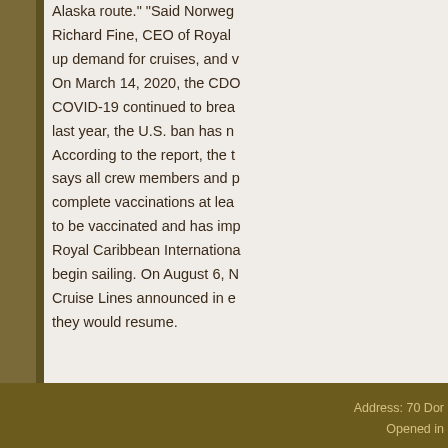Alaska route." "Said Norwegian... Richard Fine, CEO of Royal ... up demand for cruises, and w... On March 14, 2020, the CDC... COVID-19 continued to brea... last year, the U.S. ban has n... According to the report, the t... says all crew members and p... complete vaccinations at lea... to be vaccinated and has imp... Royal Caribbean Internationa... begin sailing. On August 6, N... Cruise Lines announced in e... they would resume.
Prev:The 'paid rescue' of scen...
➔ Go Back
Address: 70 Dor...
Opened in...